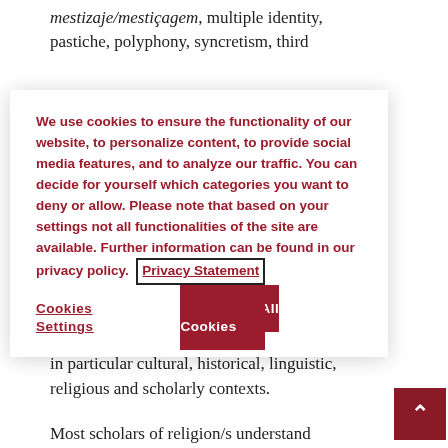mestizaje/mestiçagem, multiple identity, pastiche, polyphony, syncretism, third
We use cookies to ensure the functionality of our website, to personalize content, to provide social media features, and to analyze our traffic. You can decide for yourself which categories you want to deny or allow. Please note that based on your settings not all functionalities of the site are available. Further information can be found in our privacy policy. Privacy Statement
Cookies Settings
Accept All Cookies
making sense of them in their different semantic locations, tracing connections between these words and others with which they are associated in particular cultural, historical, linguistic, religious and scholarly contexts.
Most scholars of religion/s understand